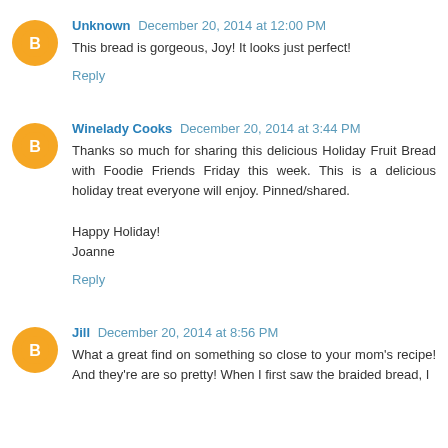Unknown December 20, 2014 at 12:00 PM
This bread is gorgeous, Joy! It looks just perfect!
Reply
Winelady Cooks December 20, 2014 at 3:44 PM
Thanks so much for sharing this delicious Holiday Fruit Bread with Foodie Friends Friday this week. This is a delicious holiday treat everyone will enjoy. Pinned/shared.

Happy Holiday!
Joanne
Reply
Jill December 20, 2014 at 8:56 PM
What a great find on something so close to your mom's recipe! And they're are so pretty! When I first saw the braided bread, I